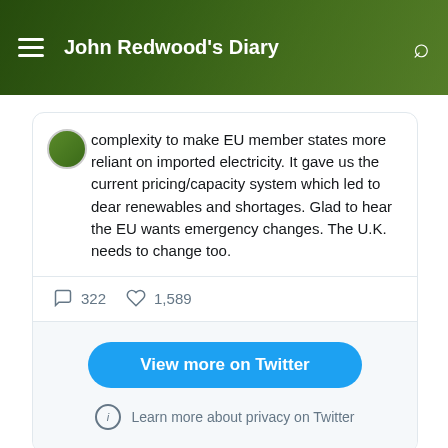John Redwood's Diary
complexity to make EU member states more reliant on imported electricity. It gave us the current pricing/capacity system which led to dear renewables and shortages. Glad to hear the EU wants emergency changes. The U.K. needs to change too.
322 comments  1,589 likes
View more on Twitter
Learn more about privacy on Twitter